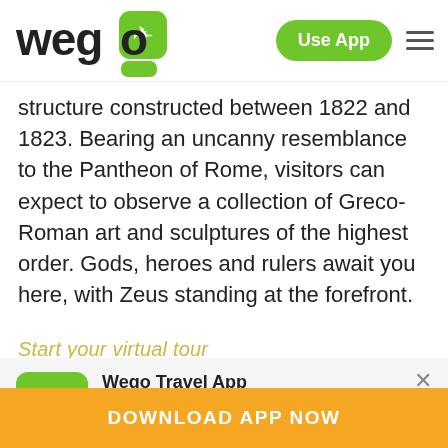wego — Use App [navigation bar]
structure constructed between 1822 and 1823. Bearing an uncanny resemblance to the Pantheon of Rome, visitors can expect to observe a collection of Greco-Roman art and sculptures of the highest order. Gods, heroes and rulers await you here, with Zeus standing at the forefront.
Start your virtual tour
[Figure (infographic): Wego Travel App promotional banner with app icon (green background, white airplane), title 'Wego Travel App', description 'Get inspired, explore and plan trips like never before!', star rating 4.5 stars with 250k reviews, and orange 'DOWNLOAD APP NOW' button.]